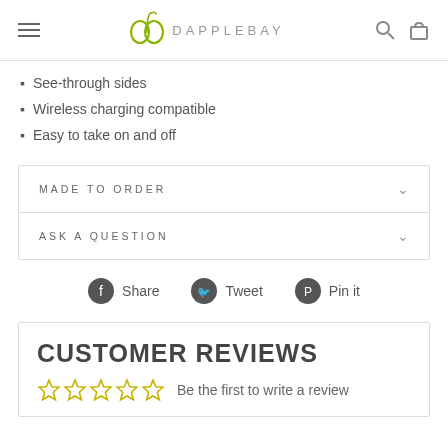DAPPLEBAY
See-through sides
Wireless charging compatible
Easy to take on and off
MADE TO ORDER
ASK A QUESTION
Share   Tweet   Pin it
CUSTOMER REVIEWS
Be the first to write a review